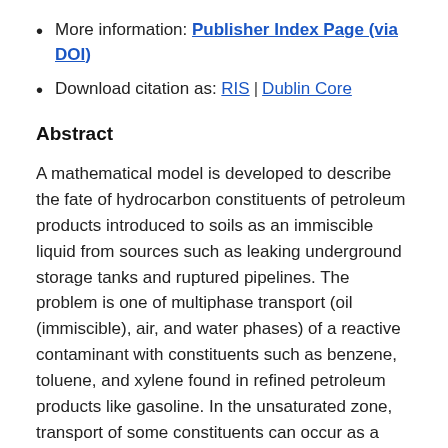More information: Publisher Index Page (via DOI)
Download citation as: RIS | Dublin Core
Abstract
A mathematical model is developed to describe the fate of hydrocarbon constituents of petroleum products introduced to soils as an immiscible liquid from sources such as leaking underground storage tanks and ruptured pipelines. The problem is one of multiphase transport (oil (immiscible), air, and water phases) of a reactive contaminant with constituents such as benzene, toluene, and xylene found in refined petroleum products like gasoline. In the unsaturated zone, transport of some constituents can occur as a data in the